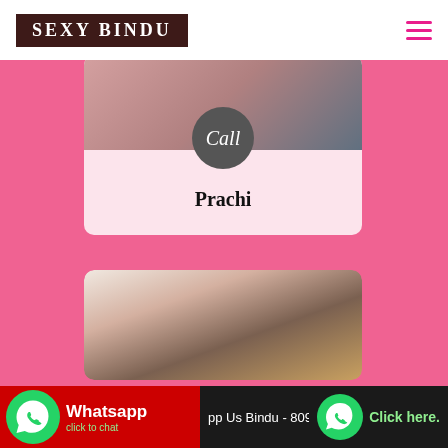SEXY BINDU
[Figure (photo): Photo of a person, blurred/pixelated for privacy, card with circle button labeled 'Call' and name 'Prachi']
Prachi
[Figure (photo): Second photo card showing a person near a mirror/ornate frame, blurred]
Call Now Bindu- 8097343747
Whatsapp
click to chat
pp Us Bindu - 80973...
Click here.